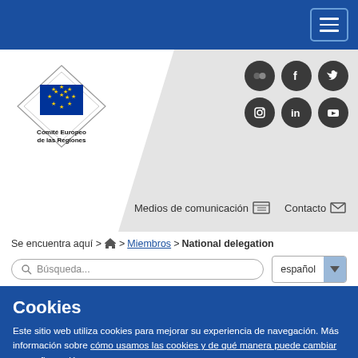Navigation bar with hamburger menu
[Figure (logo): Comité Europeo de las Regiones logo with EU flag emblem]
[Figure (infographic): Social media icons: Flickr, Facebook, Twitter, Instagram, LinkedIn, YouTube]
Medios de comunicación   Contacto
Se encuentra aquí > 🏠 > Miembros > National delegation
Búsqueda...   español
Cookies
Este sitio web utiliza cookies para mejorar su experiencia de navegación. Más información sobre cómo usamos las cookies y de qué manera puede cambiar su configuración.
Acepto las cookies   Rechazo las cookies